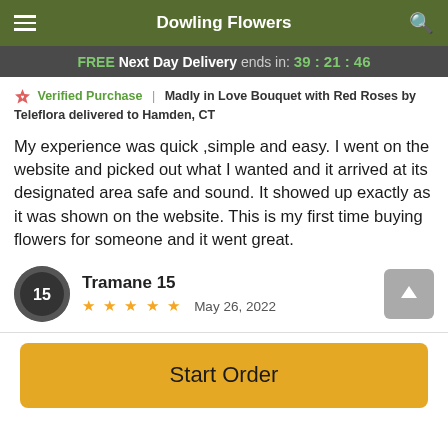Dowling Flowers
FREE Next Day Delivery ends in: 39:21:46
Verified Purchase | Madly in Love Bouquet with Red Roses by Teleflora delivered to Hamden, CT
My experience was quick ,simple and easy. I went on the website and picked out what I wanted and it arrived at its designated area safe and sound. It showed up exactly as it was shown on the website. This is my first time buying flowers for someone and it went great.
Tramane 15 ★ ★ ★ ★ ★ May 26, 2022
Start Order